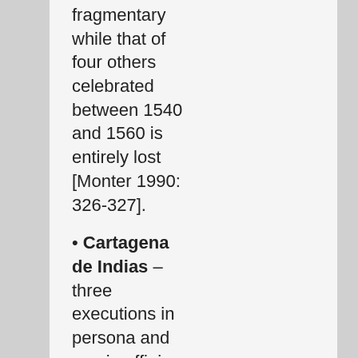fragmentary while that of four others celebrated between 1540 and 1560 is entirely lost [Monter 1990: 326-327].
• Cartagena de Indias – three executions in persona and one in effigie, according to relaciones de causas.
• Lima – 31 executions took place